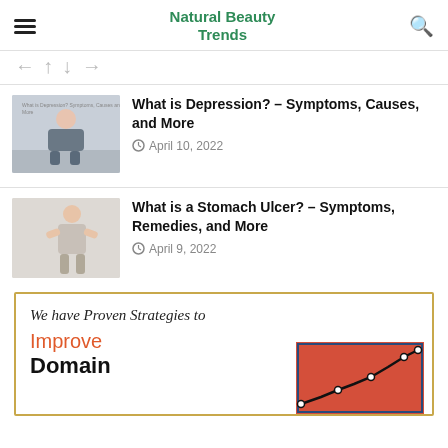Natural Beauty Trends
← ↑ ↓ →
What is Depression? – Symptoms, Causes, and More
April 10, 2022
What is a Stomach Ulcer? – Symptoms, Remedies, and More
April 9, 2022
[Figure (infographic): Advertisement box with text 'We have Proven Strategies to Improve Domain' and a line chart on coral/red background]